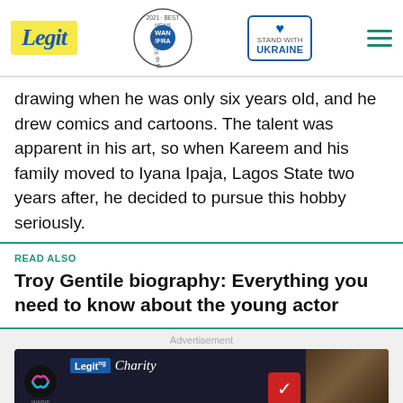Legit | WAN IFRA 2021 Best News Website in Africa | Stand with Ukraine
drawing when he was only six years old, and he drew comics and cartoons. The talent was apparent in his art, so when Kareem and his family moved to Iyana Ipaja, Lagos State two years after, he decided to pursue this hobby seriously.
READ ALSO
Troy Gentile biography: Everything you need to know about the young actor
Advertisement
[Figure (screenshot): Advertisement banner featuring WARIF logo, Legit.ng Charity text, and a person in background with 'YOUR' text in yellow and a red arrow button]
[Figure (infographic): Bottom ad banner: Save Up to 65% - Leesburg Premium Outlets with navigation arrows and diamond shaped blue icon]